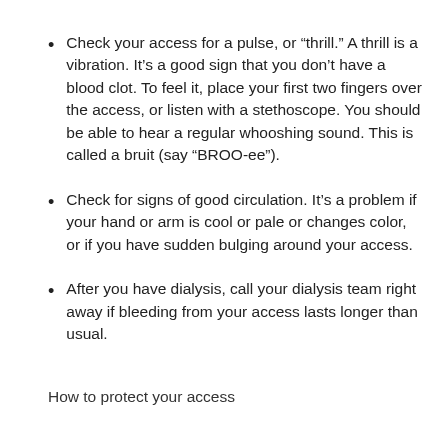Check your access for a pulse, or “thrill.” A thrill is a vibration. It’s a good sign that you don’t have a blood clot. To feel it, place your first two fingers over the access, or listen with a stethoscope. You should be able to hear a regular whooshing sound. This is called a bruit (say “BROO-ee”).
Check for signs of good circulation. It’s a problem if your hand or arm is cool or pale or changes color, or if you have sudden bulging around your access.
After you have dialysis, call your dialysis team right away if bleeding from your access lasts longer than usual.
How to protect your access